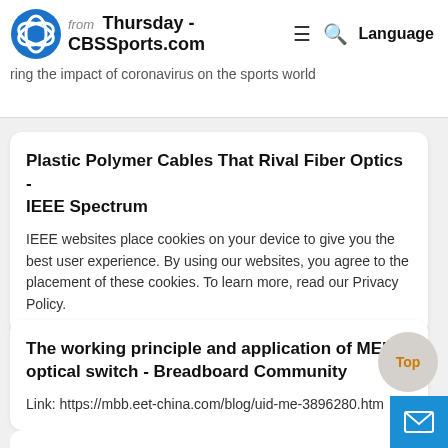from Thursday - CBSSports.com | ring the impact of coronavirus on the sports world
Plastic Polymer Cables That Rival Fiber Optics - IEEE Spectrum
IEEE websites place cookies on your device to give you the best user experience. By using our websites, you agree to the placement of these cookies. To learn more, read our Privacy Policy.
The working principle and application of MEMS optical switch - Breadboard Community
Link: https://mbb.eet-china.com/blog/uid-me-3896280.htm